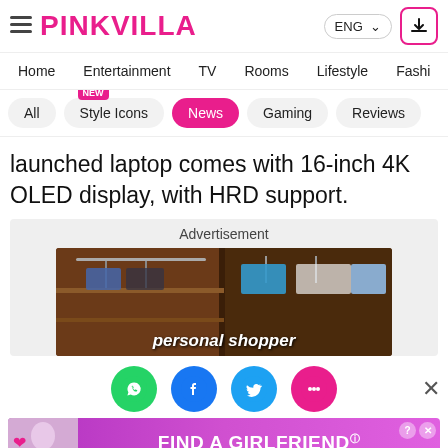PINKVILLA
Home | Entertainment | TV | Rooms | Lifestyle | Fashi
All | Style Icons (NEW) | News | Gaming | Reviews
launched laptop comes with 16-inch 4K OLED display, with HRD support.
[Figure (screenshot): Advertisement box with image of closet/wardrobe with hanging clothes and text 'personal shopper']
[Figure (infographic): Social sharing icons: WhatsApp (green), Facebook (blue), Twitter (blue), chat/more (pink). Close X button on right.]
[Figure (infographic): Bottom banner advertisement: 'FIND A GIRLFRIEND' with Clover branding on purple/pink gradient background. Woman photo on left, heart emojis.]